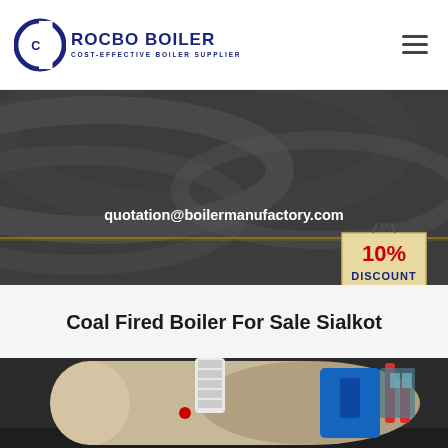[Figure (logo): Rocbo Boiler logo with circular C icon and text 'ROCBO BOILER / COST-EFFECTIVE BOILER SUPPLIER']
[Figure (photo): Dark industrial/factory banner background with abstract swirl patterns]
quotation@boilermanufactory.com
[Figure (illustration): 10% DISCOUNT tag/badge in red and blue on a beige hanging tag shape]
Coal Fired Boiler For Sale Sialkot
[Figure (photo): Industrial boiler equipment inside a factory/manufacturing facility]